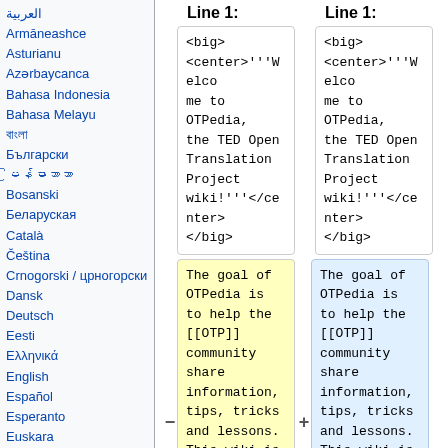العربية
Armāneashce
Asturianu
Azərbaycanca
Bahasa Indonesia
Bahasa Melayu
বাংলা
Български
မြန်မာဘာသာ
Bosanski
Беларуская
Català
Čeština
Crnogorski / црногорски
Dansk
Deutsch
Eesti
Ελληνικά
English
Español
Esperanto
Euskara
فارسی
Line 1: (left column header)
Line 1: (right column header)
<big>
<center>'''Welcome to OTPedia, the TED Open Translation Project wiki!'''</center>
</big>
<big>
<center>'''Welcome to OTPedia, the TED Open Translation Project wiki!'''</center>
</big>
The goal of OTPedia is to help the [[OTP]] community share information, tips, tricks and lessons. This wiki is a community resource. Together, we are responsible for
The goal of OTPedia is to help the [[OTP]] community share information, tips, tricks and lessons. This wiki is a community resource. Together, we are responsible for